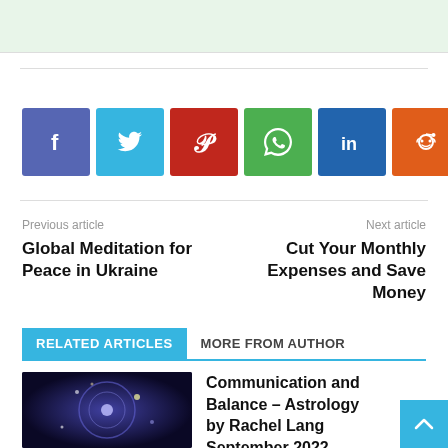[Figure (other): Light green banner at top of page]
Social share buttons: Facebook, Twitter, Pinterest, WhatsApp, LinkedIn, Reddit, Email, More
Previous article
Next article
Global Meditation for Peace in Ukraine
Cut Your Monthly Expenses and Save Money
RELATED ARTICLES
MORE FROM AUTHOR
[Figure (photo): Astrology themed dark blue image with zodiac symbols]
Communication and Balance – Astrology by Rachel Lang September 2022